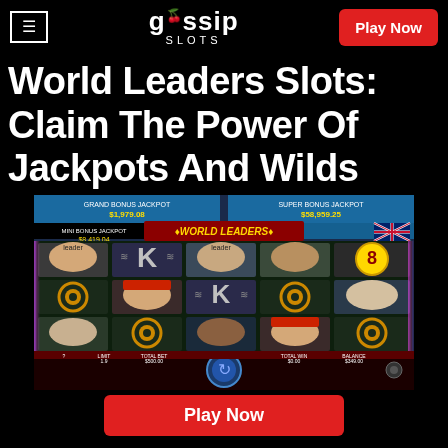gossip SLOTS — Play Now
World Leaders Slots: Claim The Power Of Jackpots And Wilds
[Figure (screenshot): Screenshot of the World Leaders slot game showing 5x3 reel grid with caricatures of world leaders, K wild symbols, gear symbols, and jackpot displays at the top. Game controls visible at the bottom.]
Play Now